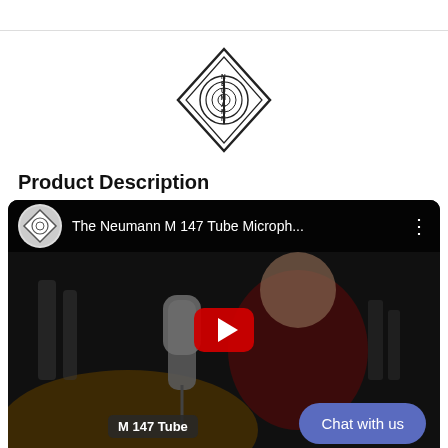[Figure (logo): Neumann diamond-shaped logo with circular microphone capsule motif in the center]
Product Description
[Figure (screenshot): YouTube video thumbnail showing 'The Neumann M 147 Tube Microph...' with a person in a red shirt, a studio microphone in the foreground, and a YouTube play button overlay. A 'Chat with us' button is visible in the lower right.]